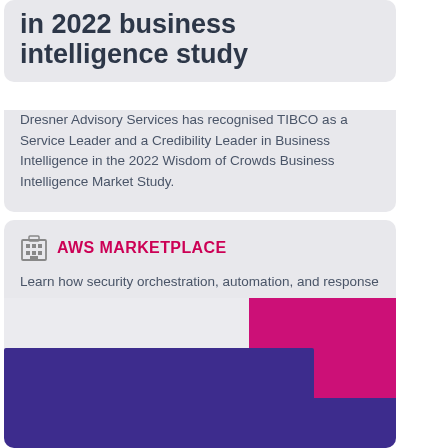in 2022 business intelligence study
Dresner Advisory Services has recognised TIBCO as a Service Leader and a Credibility Leader in Business Intelligence in the 2022 Wisdom of Crowds Business Intelligence Market Study.
AWS MARKETPLACE
Learn how security orchestration, automation, and response (SOAR) enhances your security strategy.
[Figure (illustration): Abstract geometric illustration with magenta/pink and dark purple/indigo rectangular shapes at bottom of AWS Marketplace card]